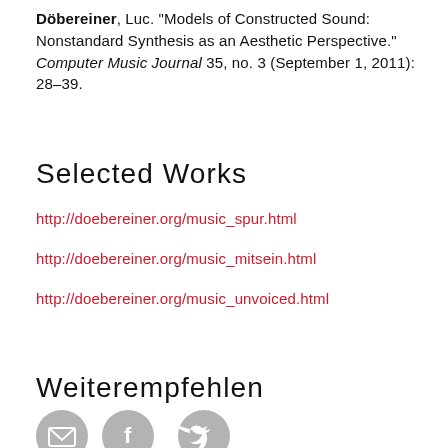Döbereiner, Luc. "Models of Constructed Sound: Nonstandard Synthesis as an Aesthetic Perspective." Computer Music Journal 35, no. 3 (September 1, 2011): 28–39.
Selected Works
http://doebereiner.org/music_spur.html
http://doebereiner.org/music_mitsein.html
http://doebereiner.org/music_unvoiced.html
Weiterempfehlen
[Figure (illustration): Three social sharing icon circles (email, Facebook, Twitter) in grey, and a red StudyGuide button with a compass icon on the right.]